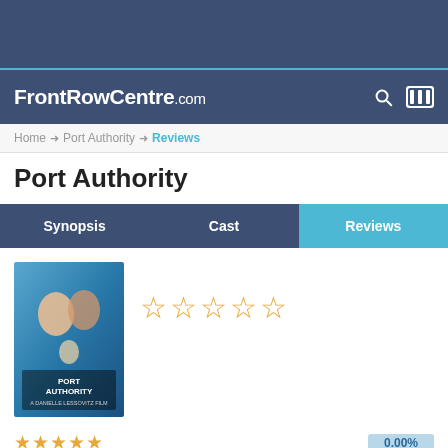FrontRowCentre.com
Home → Port Authority → Reviews
Port Authority
Synopsis | Cast | Reviews
[Figure (photo): Port Authority movie poster showing two people close together with a baby, blue tones]
☆☆☆☆☆ (5 empty stars rating)
★★★★★  0.00%
★★★★☆  0.00%